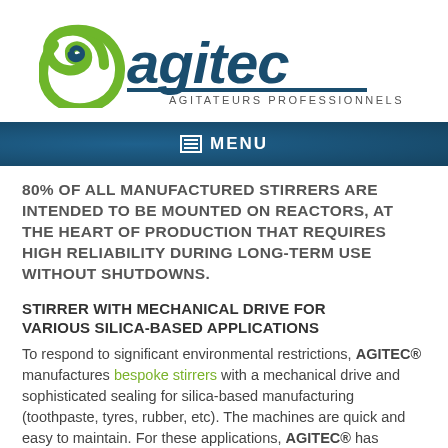[Figure (logo): Agitec logo with green spiral and dark blue 'agitec' wordmark, subtitle 'AGITATEURS PROFESSIONNELS']
MENU
80% OF ALL MANUFACTURED STIRRERS ARE INTENDED TO BE MOUNTED ON REACTORS, AT THE HEART OF PRODUCTION THAT REQUIRES HIGH RELIABILITY DURING LONG-TERM USE WITHOUT SHUTDOWNS.
STIRRER WITH MECHANICAL DRIVE FOR VARIOUS SILICA-BASED APPLICATIONS
To respond to significant environmental restrictions, AGITEC® manufactures bespoke stirrers with a mechanical drive and sophisticated sealing for silica-based manufacturing (toothpaste, tyres, rubber, etc). The machines are quick and easy to maintain. For these applications, AGITEC® has partnered up with major manufacturers of motors, gearboxes and